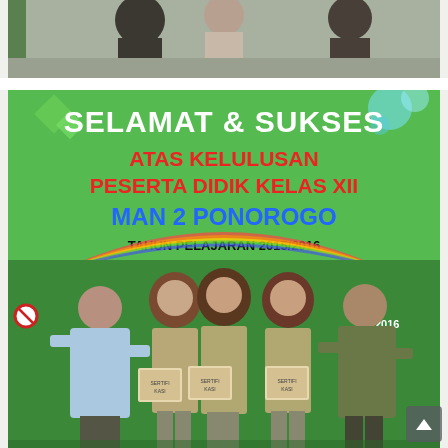[Figure (photo): Top portion of a photograph showing blurry figures of people from waist up against a wall background]
[Figure (photo): Photograph of a group of people (students and teachers) posing in front of a green banner that reads: SELAMAT & SUKSES ATAS KELULUSAN PESERTA DIDIK KELAS XII MAN 2 PONOROGO TAHUN PELAJARAN 2015/2016. Three female students in hijab are holding framed certificates, flanked by two male teachers.]